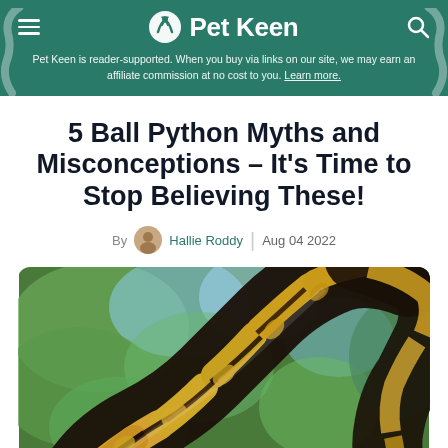Pet Keen
Pet Keen is reader-supported. When you buy via links on our site, we may earn an affiliate commission at no cost to you. Learn more.
5 Ball Python Myths and Misconceptions – It's Time to Stop Believing These!
By Hallie Roddy | Aug 04 2022
[Figure (photo): Close-up photograph of a ball python snake with distinctive yellow/gold and dark brown/black patterned scales, coiled against a blurred green and blue foliage background.]